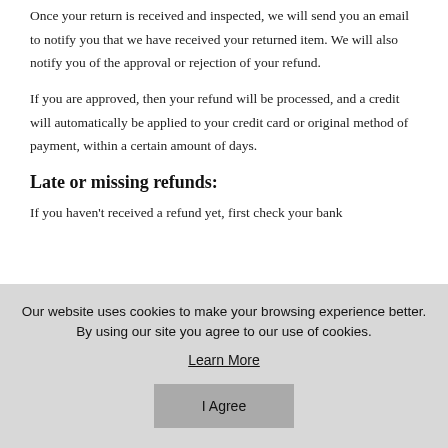Once your return is received and inspected, we will send you an email to notify you that we have received your returned item. We will also notify you of the approval or rejection of your refund.
If you are approved, then your refund will be processed, and a credit will automatically be applied to your credit card or original method of payment, within a certain amount of days.
Late or missing refunds:
If you haven't received a refund yet, first check your bank
Our website uses cookies to make your browsing experience better. By using our site you agree to our use of cookies.
Learn More
I Agree